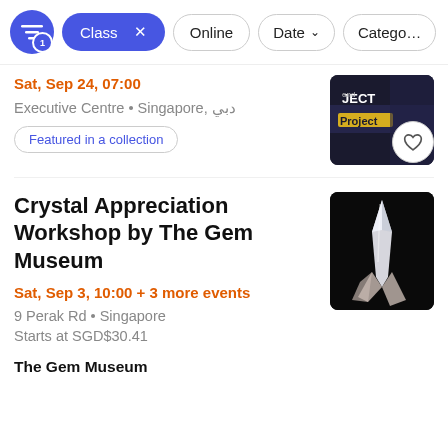Class x   Online   Date   Category
Sat, Sep 24, 07:00
Executive Centre • Singapore, دبي
Featured in a collection
[Figure (screenshot): Dark event banner with text JECT and a yellow strip]
Crystal Appreciation Workshop by The Gem Museum
Sat, Sep 3, 10:00 + 3 more events
9 Perak Rd • Singapore
Starts at SGD$30.41
[Figure (photo): A clear quartz crystal cluster on black background]
The Gem Museum